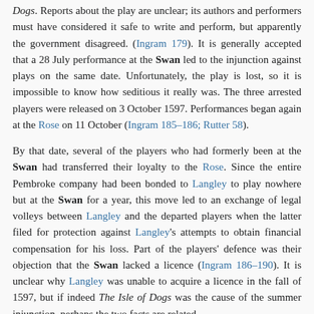Dogs. Reports about the play are unclear; its authors and performers must have considered it safe to write and perform, but apparently the government disagreed. (Ingram 179). It is generally accepted that a 28 July performance at the Swan led to the injunction against plays on the same date. Unfortunately, the play is lost, so it is impossible to know how seditious it really was. The three arrested players were released on 3 October 1597. Performances began again at the Rose on 11 October (Ingram 185–186; Rutter 58).
By that date, several of the players who had formerly been at the Swan had transferred their loyalty to the Rose. Since the entire Pembroke company had been bonded to Langley to play nowhere but at the Swan for a year, this move led to an exchange of legal volleys between Langley and the departed players when the latter filed for protection against Langley's attempts to obtain financial compensation for his loss. Part of the players' defence was their objection that the Swan lacked a licence (Ingram 186–190). It is unclear why Langley was unable to acquire a licence in the fall of 1597, but if indeed The Isle of Dogs was the cause of the summer injunction, perhaps the two facts are related.
Those of the Earl of Pembroke's Men who had not moved to the Rose continued to play at the Swan, licensed or not, in the fall of 1597. Part of Langley's lawsuit asserted that the departed players "might